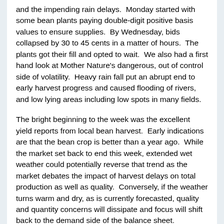and the impending rain delays.  Monday started with some bean plants paying double-digit positive basis values to ensure supplies.  By Wednesday, bids collapsed by 30 to 45 cents in a matter of hours.  The plants got their fill and opted to wait.  We also had a first hand look at Mother Nature's dangerous, out of control side of volatility.  Heavy rain fall put an abrupt end to early harvest progress and caused flooding of rivers, and low lying areas including low spots in many fields.
The bright beginning to the week was the excellent yield reports from local bean harvest.  Early indications are that the bean crop is better than a year ago.  While the market set back to end this week, extended wet weather could potentially reverse that trend as the market debates the impact of harvest delays on total production as well as quality.  Conversely, if the weather turns warm and dry, as is currently forecasted, quality and quantity concerns will dissipate and focus will shift back to the demand side of the balance sheet.